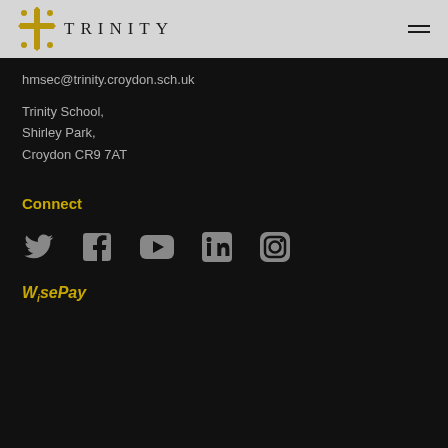[Figure (logo): Trinity School logo with cross emblem and TRINITY text in spaced serif capitals]
hmsec@trinity.croydon.sch.uk
Trinity School,
Shirley Park,
Croydon CR9 7AT
Connect
[Figure (infographic): Row of social media icons: Twitter, Facebook, YouTube, LinkedIn, Instagram]
[Figure (logo): WisePay logo in gold italic stylized text]